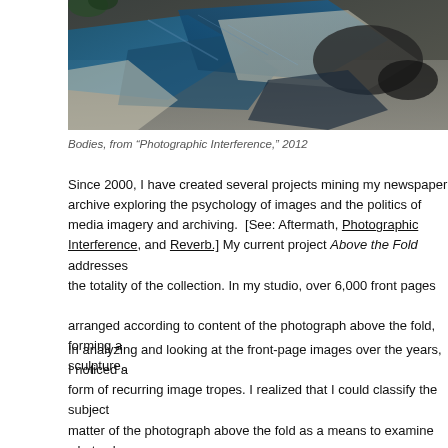[Figure (photo): Overhead view of bodies/figures covered with blue tarps and newspapers on steps or a floor, dark and gritty photographic image.]
Bodies, from “Photographic Interference,” 2012
Since 2000, I have created several projects mining my newspaper archive exploring the psychology of images and the politics of media imagery and archiving. [See: Aftermath, Photographic Interference, and Reverb.] My current project Above the Fold addresses the totality of the collection. In my studio, over 6,000 front pages of newspapers have been arranged according to content of the photograph above the fold, becoming a large-scale sculpture.
In analyzing and looking at the front-page images over the years, I began to notice a form of recurring image tropes. I realized that I could classify the subject matter of the photograph above the fold as a means to examine what values are transmitted. Categories presented themselves to me including